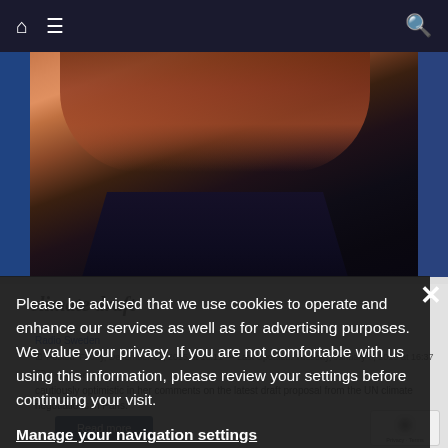Navigation bar with home icon, menu icon, and search icon
[Figure (photo): Close-up photo of a woman with reddish-brown hair wearing a dark jacket, partially visible behind overlay]
climate draft
Radio Sweden
Posted: Friday, December 11, 2015 at 16:11 — Last Updated: Tuesday, January 5, 2016 at 16:37
0 Comments
cautiously optimistic in her comments on the latest draft proposal from the UN climate negotiations in Paris.
Please be advised that we use cookies to operate and enhance our services as well as for advertising purposes. We value your privacy. If you are not comfortable with us using this information, please review your settings before continuing your visit.
Manage your navigation settings
Find out more
Read more